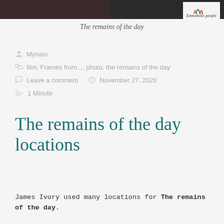[Figure (photo): Top portion showing film stills/photos from The Remains of the Day with Emmaholic.people logo in top right]
The remains of the day
Myriam
film, Frames from..., photo, the remains of the day
Leave a comment   November 27, 2020
1 Minute
The remains of the day locations
James Ivory used many locations for The remains of the day.